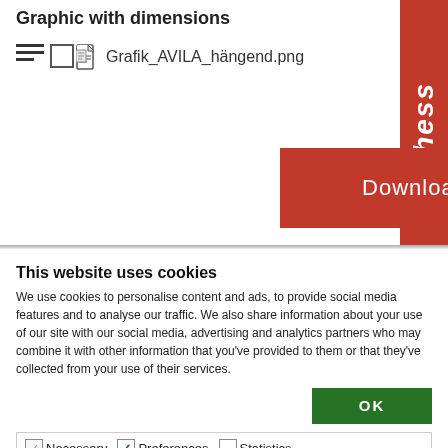Graphic with dimensions
Grafik_AVILA_hängend.png
[Figure (screenshot): Red Download button]
This website uses cookies
We use cookies to personalise content and ads, to provide social media features and to analyse our traffic. We also share information about your use of our site with our social media, advertising and analytics partners who may combine it with other information that you've provided to them or that they've collected from your use of their services.
OK
Necessary  Preferences  Statistics  Marketing  Show details